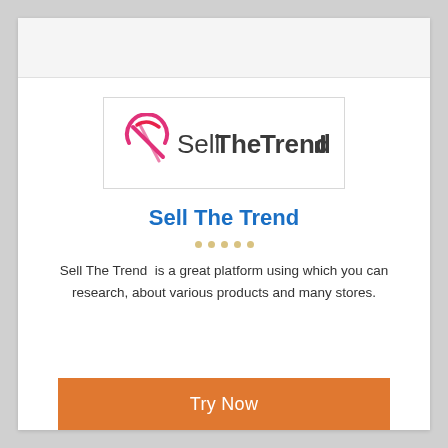[Figure (logo): Sell The Trend logo: pink/magenta swoosh globe icon on left, then 'SellTheTrend' text with bar chart icon replacing the letter 'l' at end, in dark gray/charcoal.]
Sell The Trend
Sell The Trend  is a great platform using which you can research, about various products and many stores.
Try Now